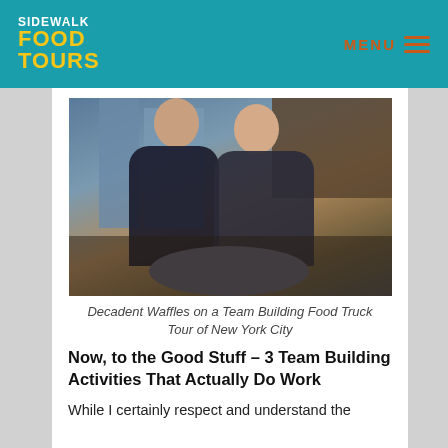SIDEWALK FOOD TOURS | MENU
[Figure (photo): Two young women smiling and eating waffles at an outdoor table in front of a restaurant called 'wafels & dinges', with the Empire State Building visible in the background.]
Decadent Waffles on a Team Building Food Truck Tour of New York City
Now, to the Good Stuff – 3 Team Building Activities That Actually Do Work
While I certainly respect and understand the